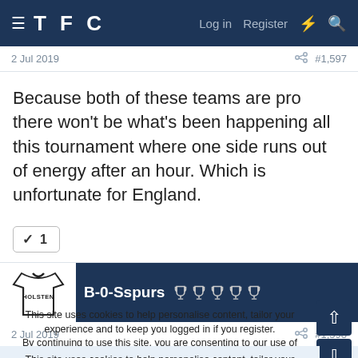TFC  Log in  Register
2 Jul 2019   #1,597
Because both of these teams are pro there won't be what's been happening all this tournament where one side runs out of energy after an hour. Which is unfortunate for England.
✓ 1
B-0-Sspurs  🏆🏆🏆🏆🏆
2 Jul 2019   #1,598
This site uses cookies to help personalise content, tailor your experience and to keep you logged in if you register.
By continuing to use this site, you are consenting to our use of cookies.
✓ ACCEPT   LEARN MORE...